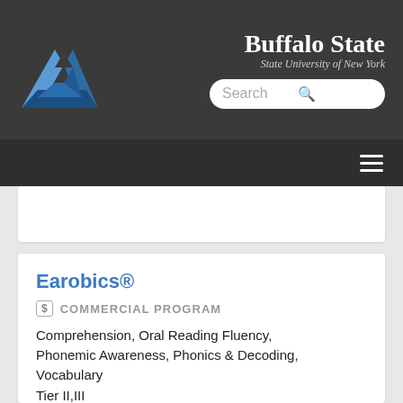[Figure (logo): Blue triangular loop logo (Penrose triangle style) on dark background]
[Figure (logo): Buffalo State - State University of New York wordmark in white on dark background]
Search
Earobics®
$ COMMERCIAL PROGRAM
Comprehension, Oral Reading Fluency, Phonemic Awareness, Phonics & Decoding, Vocabulary
Tier II,III
K—3rd